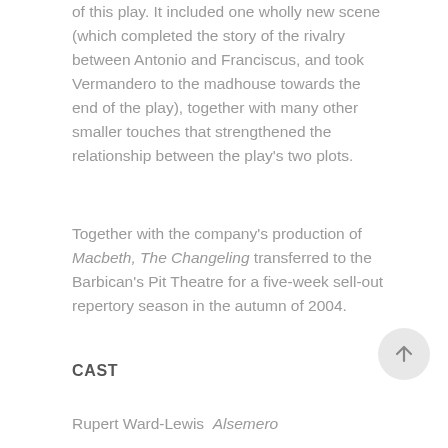of this play. It included one wholly new scene (which completed the story of the rivalry between Antonio and Franciscus, and took Vermandero to the madhouse towards the end of the play), together with many other smaller touches that strengthened the relationship between the play's two plots.
Together with the company's production of Macbeth, The Changeling transferred to the Barbican's Pit Theatre for a five-week sell-out repertory season in the autumn of 2004.
CAST
Rupert Ward-Lewis  Alsemero